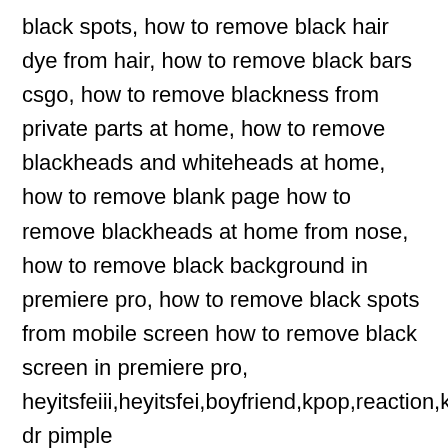black spots, how to remove black hair dye from hair, how to remove black bars csgo, how to remove blackness from private parts at home, how to remove blackheads and whiteheads at home, how to remove blank page how to remove blackheads at home from nose, how to remove black background in premiere pro, how to remove black spots from mobile screen how to remove black screen in premiere pro, heyitsfeiii,heyitsfei,boyfriend,kpop,reaction,kbeauty,acne,pimples,blackheads,how,to,get,rid,of,skincare,guru,skinvestor,"►[SKINVESTOR dr pimple popper,drpimplepopper,drsandralee,sandra lee,pimple,popper,extraction,blackhead,whitehead,milia,ASMR,cyst,skin,skin care,beauty,facial treatment,pimple popping,how to pop a pimple,dermatology,dermatologist,popping,popaholic,acne,zit,educational,medical school,educational videos for students,medical school videos erase blackheads,how to